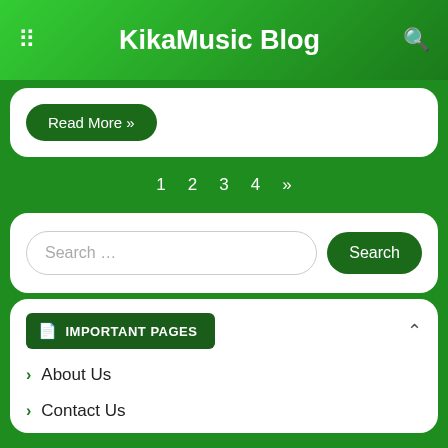KikaMusic Blog
Read More »
1 2 3 4 »
Search …
IMPORTANT PAGES
About Us
Contact Us